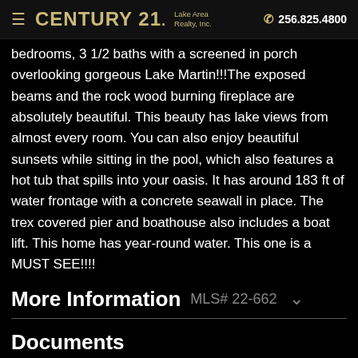≡ CENTURY 21. Lake Area Realty, Inc. ☎ 256.825.4800
bedrooms, 3 1/2 baths with a screened in porch overlooking gorgeous Lake Martin!!!The exposed beams and the rock wood burning fireplace are absolutely beautiful. This beauty has lake views from almost every room. You can also enjoy beautiful sunsets while sitting in the pool, which also features a hot tub that spills into your oasis. It has around 183 ft of water frontage with a concrete seawall in place. The trex covered pier and boathouse also includes a boat lift. This home has year-round water. This one is a MUST SEE!!!!
More Information MLS# 22-662
Documents
house plans ›